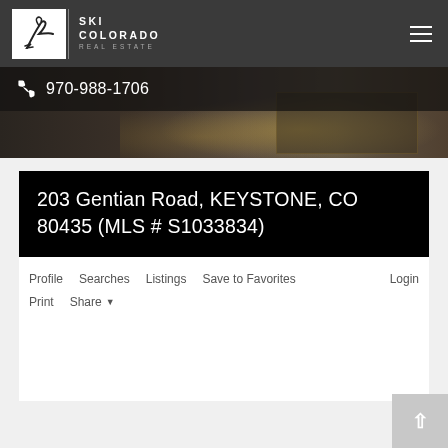Ski Colorado Real Estate
970-988-1706
[Figure (photo): Exterior photo of a house/property at dusk with warm interior lighting visible through windows, outdoor fire feature and seating area]
203 Gentian Road, KEYSTONE, CO 80435 (MLS # S1033834)
Profile
Searches
Listings
Save to Favorites
Login
Print
Share